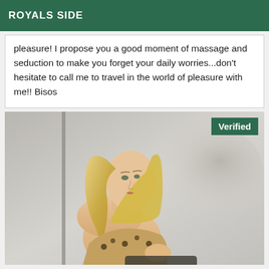ROYALS SIDE
pleasure! I propose you a good moment of massage and seduction to make you forget your daily worries...don't hesitate to call me to travel in the world of pleasure with me!! Bisos
[Figure (photo): Blonde woman looking over her shoulder, wearing a leopard print top, seated, with a 'Verified' badge in the top right corner of the image.]